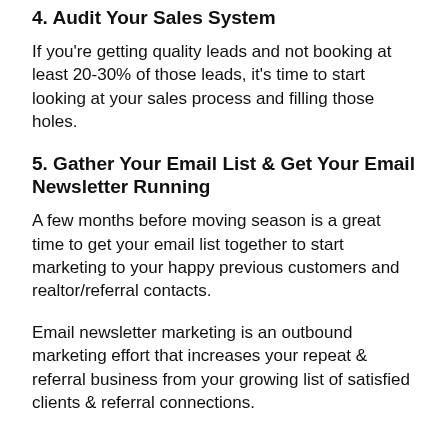4. Audit Your Sales System
If you're getting quality leads and not booking at least 20-30% of those leads, it's time to start looking at your sales process and filling those holes.
5. Gather Your Email List & Get Your Email Newsletter Running
A few months before moving season is a great time to get your email list together to start marketing to your happy previous customers and realtor/referral contacts.
Email newsletter marketing is an outbound marketing effort that increases your repeat & referral business from your growing list of satisfied clients & referral connections.